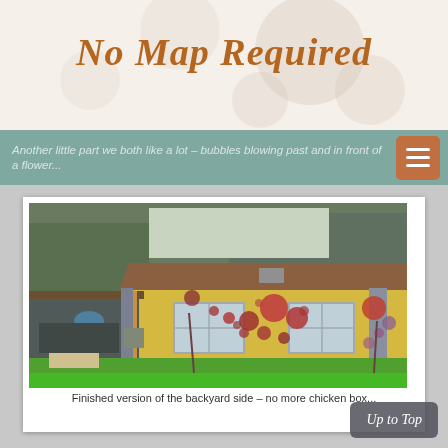No Map Required
Another little part we both like a lot – bubbles blowing past and in front of a flower...
[Figure (photo): Photo of a yellow house exterior backyard side with circular bubble artwork painted on the siding, green lawn in foreground, trees in background, patio area with furniture to the left]
Finished version of the backyard side – no more chicken box...